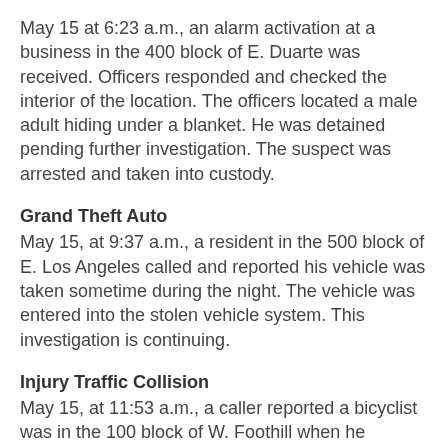May 15 at 6:23 a.m., an alarm activation at a business in the 400 block of E. Duarte was received. Officers responded and checked the interior of the location. The officers located a male adult hiding under a blanket. He was detained pending further investigation. The suspect was arrested and taken into custody.
Grand Theft Auto
May 15, at 9:37 a.m., a resident in the 500 block of E. Los Angeles called and reported his vehicle was taken sometime during the night. The vehicle was entered into the stolen vehicle system. This investigation is continuing.
Injury Traffic Collision
May 15, at 11:53 a.m., a caller reported a bicyclist was in the 100 block of W. Foothill when he collided into a parked vehicle. Officers and paramedics arrived and checked on the well-being of the bicyclist. He sustained minor injuries and was transported to a local hospital for treatment. This investigation is continuing.
Brush Fire